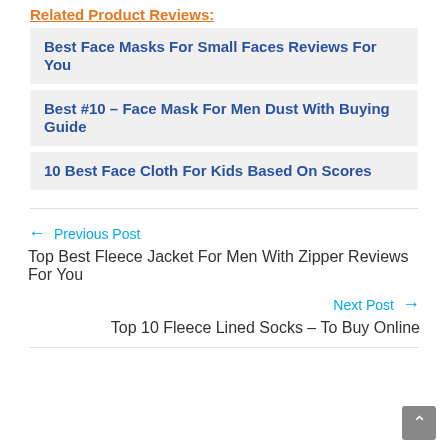Related Product Reviews:
Best Face Masks For Small Faces Reviews For You
Best #10 – Face Mask For Men Dust With Buying Guide
10 Best Face Cloth For Kids Based On Scores
← Previous Post
Top Best Fleece Jacket For Men With Zipper Reviews For You
Next Post →
Top 10 Fleece Lined Socks – To Buy Online